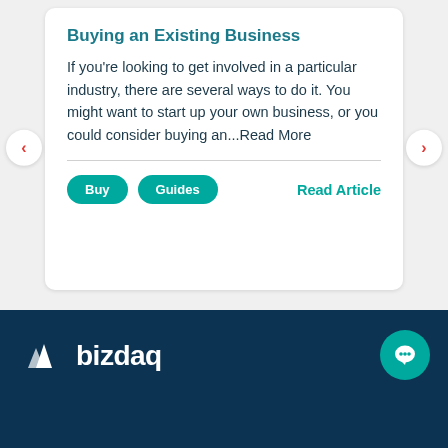Buying an Existing Business
If you're looking to get involved in a particular industry, there are several ways to do it. You might want to start up your own business, or you could consider buying an...Read More
Buy
Guides
Read Article
[Figure (logo): Bizdaq logo with white triangle/mountain icon and white text on dark navy background]
[Figure (illustration): Teal circular chat button with white speech bubble icon]